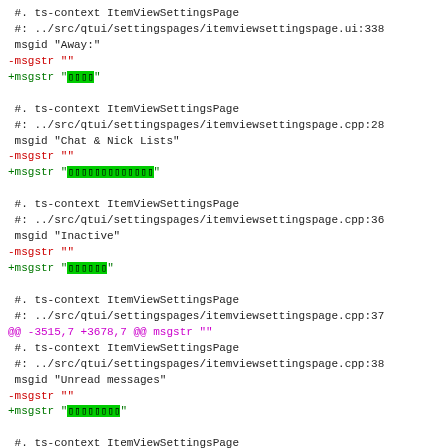Diff/patch code showing localization string changes for ItemViewSettingsPage context, including Away, Chat & Nick Lists, Inactive, Unread messages entries, and git diff hunk headers.